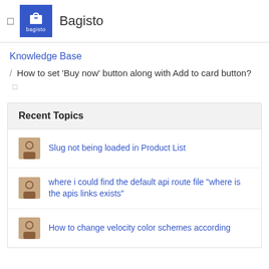Bagisto
Knowledge Base
/ How to set 'Buy now' button along with Add to card button?
Recent Topics
Slug not being loaded in Product List
where i could find the default api route file "where is the apis links exists"
How to change velocity color schemes according